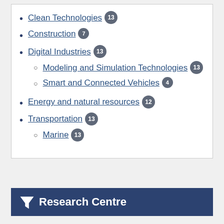Clean Technologies 13
Construction 7
Digital Industries 13
Modeling and Simulation Technologies 13
Smart and Connected Vehicles 4
Energy and natural resources 12
Transportation 13
Marine 13
Research Centre